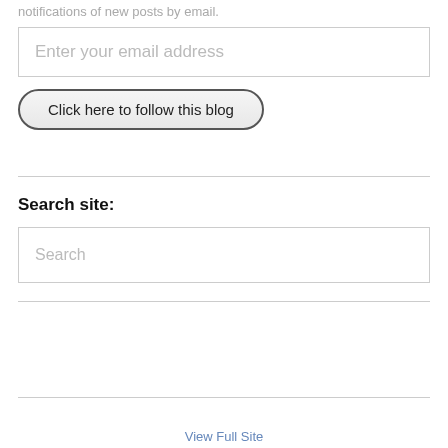notifications of new posts by email.
Enter your email address
Click here to follow this blog
Search site:
Search
View Full Site